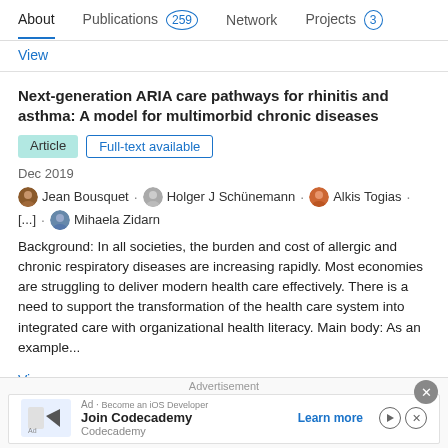About  Publications 259  Network  Projects 3
View
Next-generation ARIA care pathways for rhinitis and asthma: A model for multimorbid chronic diseases
Article  Full-text available
Dec 2019
Jean Bousquet · Holger J Schünemann · Alkis Togias · [...] · Mihaela Zidarn
Background: In all societies, the burden and cost of allergic and chronic respiratory diseases are increasing rapidly. Most economies are struggling to deliver modern health care effectively. There is a need to support the transformation of the health care system into integrated care with organizational health literacy. Main body: As an example...
View
Advertisement
Ad  Join Codecademy  Codecademy  Learn more